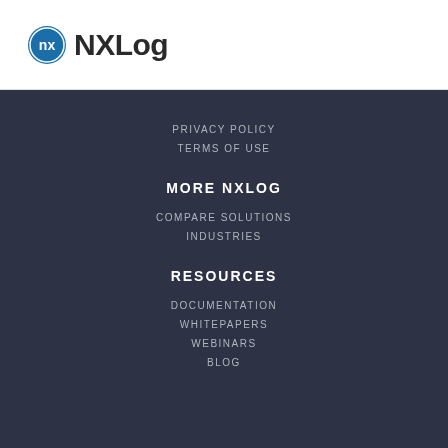[Figure (logo): NXLog company logo with blue circular icon and bold NXLog text]
PRIVACY POLICY
TERMS OF USE
MORE NXLOG
COMPARE SOLUTIONS
INDUSTRIES
RESOURCES
DOCUMENTATION
WHITEPAPERS
WEBINARS
BLOG